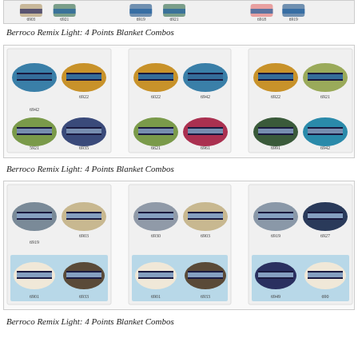[Figure (illustration): Top strip showing yarn swatch color combos with numbers 6903, 6921, 6919, 6921, 6918, 6919]
Berroco Remix Light: 4 Points Blanket Combos
[Figure (illustration): Grid of 3 yarn combo panels showing 4-color swatch groups. Numbers: 6942, 6922, 5921, 6935 / 6022, 6942, 6621, 6961 / 6922, 6921, 6991, 6942]
Berroco Remix Light: 4 Points Blanket Combos
[Figure (illustration): Grid of 3 yarn combo panels showing 4-color swatch groups. Numbers: 6919, 6903, 6901, 6933 / 6930, 6903, 6901, 6933 / 6919, 6927, 6949, 690]
Berroco Remix Light: 4 Points Blanket Combos